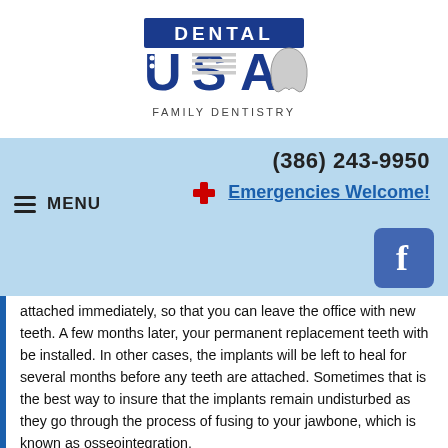[Figure (logo): Dental USA Family Dentistry logo with American flag motif and tooth graphic]
(386) 243-9950
Emergencies Welcome!
MENU
attached immediately, so that you can leave the office with new teeth. A few months later, your permanent replacement teeth with be installed. In other cases, the implants will be left to heal for several months before any teeth are attached. Sometimes that is the best way to insure that the implants remain undisturbed as they go through the process of fusing to your jawbone, which is known as osseointegration.
In either case, you will need to go easy on your newly